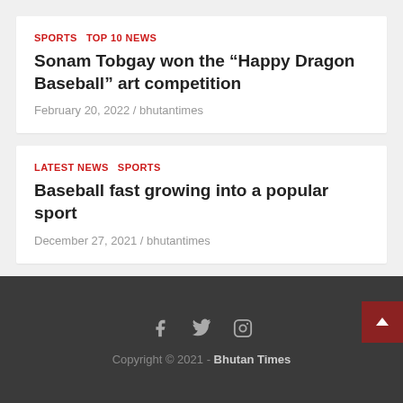SPORTS  TOP 10 NEWS
Sonam Tobgay won the “Happy Dragon Baseball” art competition
February 20, 2022 / bhutantimes
LATEST NEWS  SPORTS
Baseball fast growing into a popular sport
December 27, 2021 / bhutantimes
Copyright © 2021 - Bhutan Times